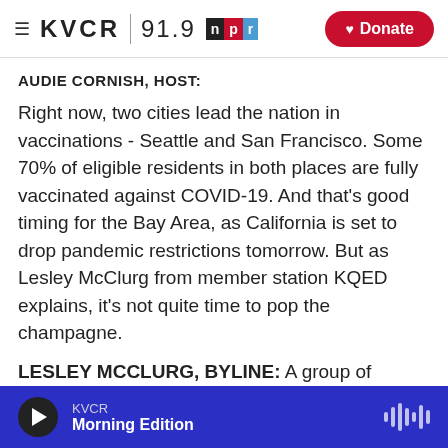KVCR 91.9 NPR | Donate
AUDIE CORNISH, HOST:
Right now, two cities lead the nation in vaccinations - Seattle and San Francisco. Some 70% of eligible residents in both places are fully vaccinated against COVID-19. And that's good timing for the Bay Area, as California is set to drop pandemic restrictions tomorrow. But as Lesley McClurg from member station KQED explains, it's not quite time to pop the champagne.
LESLEY MCCLURG, BYLINE: A group of
KVCR | Morning Edition